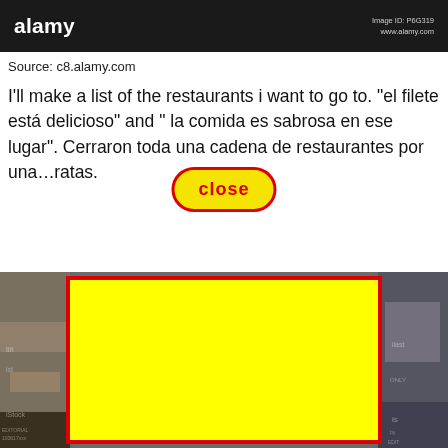alamy  Image ID: P6G319  www.alamy.com
Source: c8.alamy.com
I'll make a list of the restaurants i want to go to. "el filete está delicioso" and " la comida es sabrosa en ese lugar". Cerraron toda una cadena de restaurantes por una… ratas.
[Figure (screenshot): A screenshot of an Alamy stock photo search results page showing restaurant interior images, with a large yellow rectangle overlaid on the center of the image, bordered in red.]